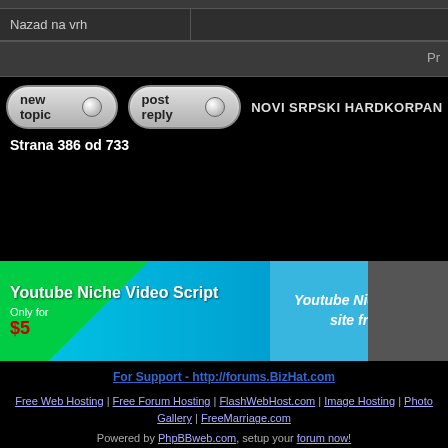Nazad na vrh
Pr
[Figure (screenshot): new topic and post reply buttons with grey pill-shaped styling]
NOVI SRPSKI HARDKORPANK
Strana 386 od 733
[Figure (infographic): Advertisement banner for Youtube Niche Video Script. Only for $5. Youtube Niche Video Script creates a niche video site from list of keywords you provide.]
For Support - http://forums.BizHat.com
Free Web Hosting | Free Forum Hosting | FlashWebHost.com | Image Hosting | Photo Gallery | FreeMarriage.com
Powered by PhpBBweb.com, setup your forum now!